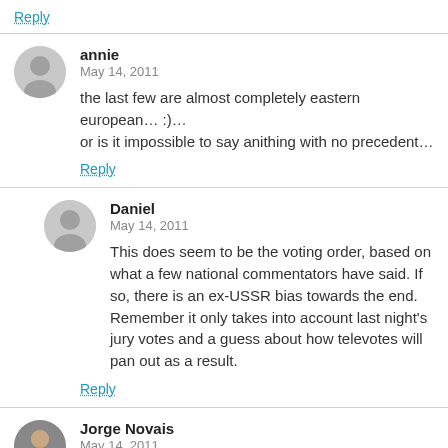Reply
annie
May 14, 2011
the last few are almost completely eastern european… :)… or is it impossible to say anithing with no precedent…
Reply
Daniel
May 14, 2011
This does seem to be the voting order, based on what a few national commentators have said. If so, there is an ex-USSR bias towards the end. Remember it only takes into account last night's jury votes and a guess about how televotes will pan out as a result.
Reply
Jorge Novais
May 14, 2011